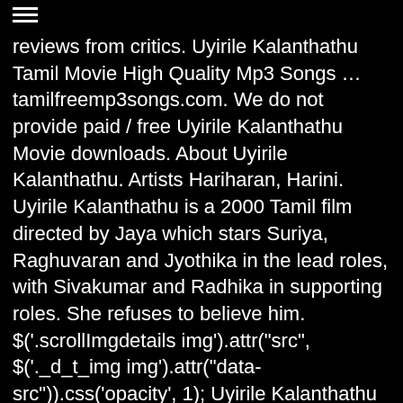reviews from critics. Uyirile Kalanthathu Tamil Movie High Quality Mp3 Songs … tamilfreemp3songs.com. We do not provide paid / free Uyirile Kalanthathu Movie downloads. About Uyirile Kalanthathu. Artists Hariharan, Harini. Uyirile Kalanthathu is a 2000 Tamil film directed by Jaya which stars Suriya, Raghuvaran and Jyothika in the lead roles, with Sivakumar and Radhika in supporting roles. She refuses to believe him. $('.scrollImgdetails img').attr("src", $('._d_t_img img').attr("data-src")).css('opacity', 1); Uyirile Kalanthathu is a Tamil album released in 2000.There are a total of 6 songs in Uyirile Kalanthathu.The songs were composed by talented musicians such as Deva.Listen to all of Uyirile Kalanthathu online on JioSaavn. college student and Jyotika is his girl. Here are some well-known faces from Sundance over the years, as they brought their early movies to the festival. But, their relationship is thrown in turmoil